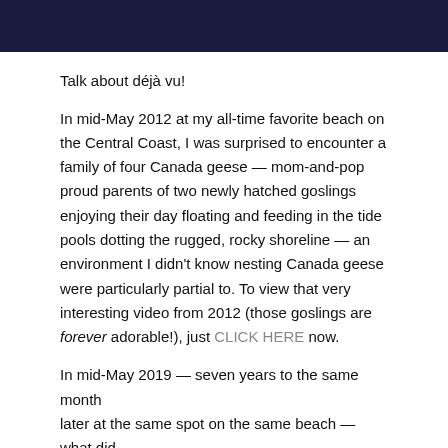[Figure (photo): Dark navy/black header banner image at the top of the page]
Talk about déjà vu!
In mid-May 2012 at my all-time favorite beach on the Central Coast, I was surprised to encounter a family of four Canada geese — mom-and-pop proud parents of two newly hatched goslings enjoying their day floating and feeding in the tide pools dotting the rugged, rocky shoreline — an environment I didn't know nesting Canada geese were particularly partial to. To view that very interesting video from 2012 (those goslings are forever adorable!), just CLICK HERE now.
In mid-May 2019 — seven years to the same month later at the same spot on the same beach — what did